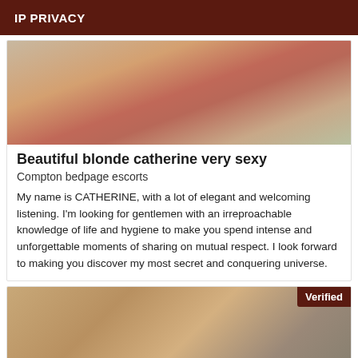IP PRIVACY
[Figure (photo): Photo of a person in pink/red clothing viewed from behind, in an indoor setting]
Beautiful blonde catherine very sexy
Compton bedpage escorts
My name is CATHERINE, with a lot of elegant and welcoming listening. I'm looking for gentlemen with an irreproachable knowledge of life and hygiene to make you spend intense and unforgettable moments of sharing on mutual respect. I look forward to making you discover my most secret and conquering universe.
[Figure (photo): Photo of a blonde/auburn-haired woman outdoors near a stone wall, with a 'Verified' badge overlay]